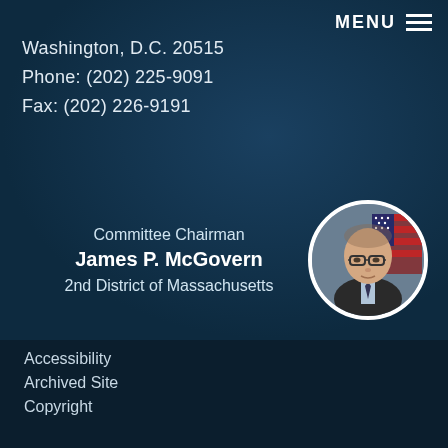MENU
Washington, D.C. 20515
Phone: (202) 225-9091
Fax: (202) 226-9191
Committee Chairman
James P. McGovern
2nd District of Massachusetts
[Figure (photo): Circular portrait photo of James P. McGovern, a man wearing glasses, a suit and tie, with an American flag in the background]
Accessibility
Archived Site
Copyright